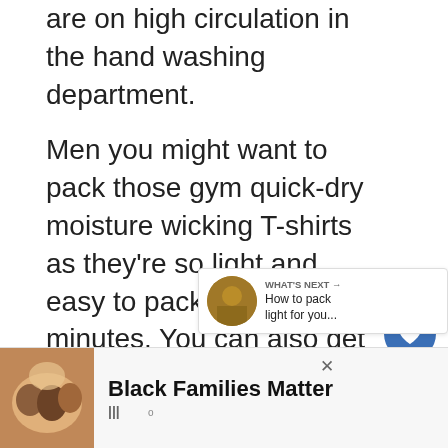are on high circulation in the hand washing department.
Men you might want to pack those gym quick-dry moisture wicking T-shirts as they're so light and easy to pack and dry in minutes. You can also get this fabric in collared shirts too if that's more you.
[Figure (other): Like button (heart icon, blue circle) with count 195, and share button below]
[Figure (other): What's Next panel with thumbnail and text: How to pack light for you...]
[Figure (other): Advertisement bar at bottom: Black Families Matter with photo of smiling family]